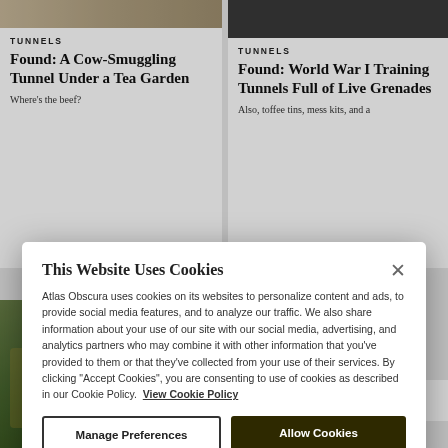[Figure (screenshot): Article card top left: cow photo cropped at top]
TUNNELS
Found: A Cow-Smuggling Tunnel Under a Tea Garden
Where's the beef?
[Figure (screenshot): Article card top right: dark image cropped at top]
TUNNELS
Found: World War I Training Tunnels Full of Live Grenades
Also, toffee tins, mess kits, and a
This Website Uses Cookies
Atlas Obscura uses cookies on its websites to personalize content and ads, to provide social media features, and to analyze our traffic. We also share information about your use of our site with our social media, advertising, and analytics partners who may combine it with other information that you've provided to them or that they've collected from your use of their services. By clicking "Accept Cookies", you are consenting to use of cookies as described in our Cookie Policy.  View Cookie Policy
Manage Preferences
Allow Cookies
The creator of the Box Tunnel built in a secret birthday present